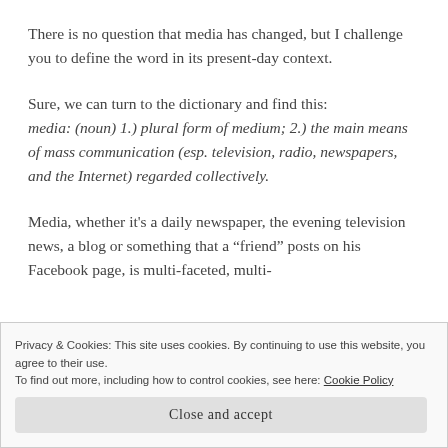There is no question that media has changed, but I challenge you to define the word in its present-day context.
Sure, we can turn to the dictionary and find this: media: (noun) 1.) plural form of medium; 2.) the main means of mass communication (esp. television, radio, newspapers, and the Internet) regarded collectively.
Media, whether it's a daily newspaper, the evening television news, a blog or something that a “friend” posts on his Facebook page, is multi-faceted, multi-
Privacy & Cookies: This site uses cookies. By continuing to use this website, you agree to their use.
To find out more, including how to control cookies, see here: Cookie Policy
Close and accept